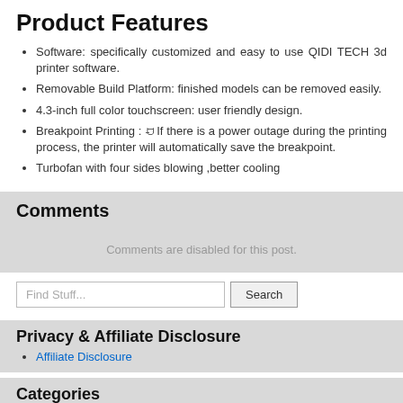Product Features
Software: specifically customized and easy to use QIDI TECH 3d printer software.
Removable Build Platform: finished models can be removed easily.
4.3-inch full color touchscreen: user friendly design.
Breakpoint Printing : ꀀIf there is a power outage during the printing process, the printer will automatically save the breakpoint.
Turbofan with four sides blowing ,better cooling
Comments
Comments are disabled for this post.
Find Stuff...
Privacy & Affiliate Disclosure
Affiliate Disclosure
Categories
3d printer